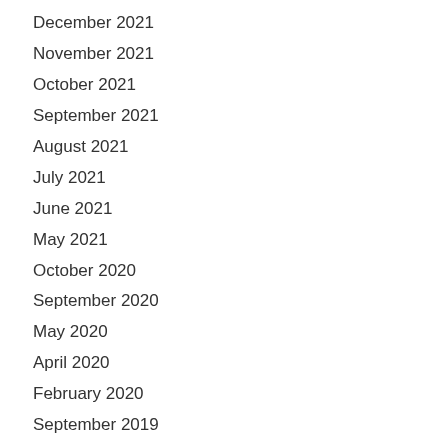December 2021
November 2021
October 2021
September 2021
August 2021
July 2021
June 2021
May 2021
October 2020
September 2020
May 2020
April 2020
February 2020
September 2019
July 2019